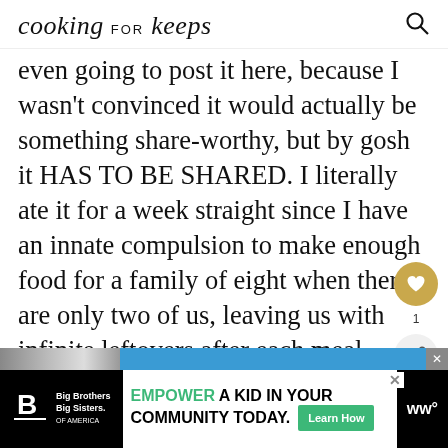cooking for keeps
even going to post it here, because I wasn't convinced it would actually be something share-worthy, but by gosh it HAS TO BE SHARED. I literally ate it for a week straight since I have an innate compulsion to make enough food for a family of eight when there are only two of us, leaving us with infinite leftovers after each meal. Except in this case, there were four of us, but still.
[Figure (screenshot): Ad banner: Big Brothers Big Sisters logo on black background with green 'EMPOWER A KID IN YOUR COMMUNITY TODAY.' text and Learn How button]